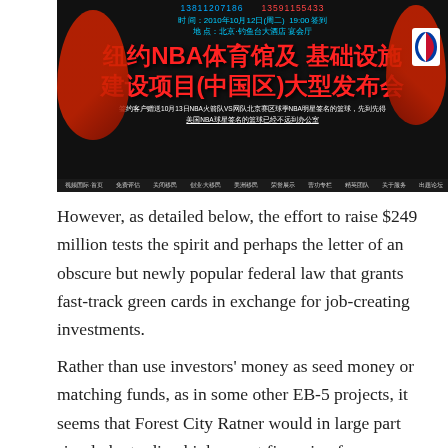[Figure (screenshot): Screenshot of a Chinese-language NBA sports venue promotional website banner. Features red Chinese text reading '纽约NBA体育馆及基础设施建设项目(中国区)大型发布会', blue contact phone numbers, event datetime and venue details, basketball player images, NBA logo, and a navigation bar at the bottom.]
However, as detailed below, the effort to raise $249 million tests the spirit and perhaps the letter of an obscure but newly popular federal law that grants fast-track green cards in exchange for job-creating investments.
Rather than use investors' money as seed money or matching funds, as in some other EB-5 projects, it seems that Forest City Ratner would in large part simply be trading higher-cost financing for a no-interest loan